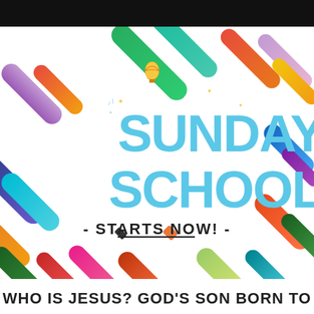[Figure (illustration): Colorful Sunday School graphic with diagonal rainbow-colored streaks on white background, large cyan/blue bold text reading 'SUNDAY SCHOOL - STARTS NOW! -' with a hot air balloon icon and sparkles]
WHO IS JESUS? GOD'S SON BORN TO